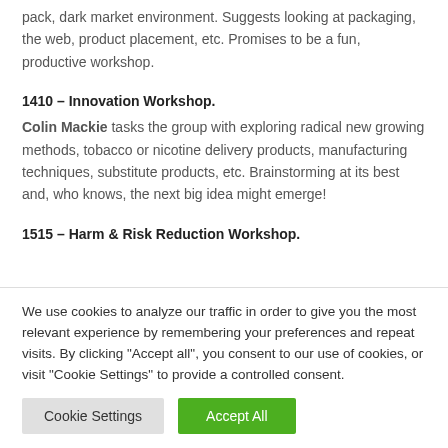pack, dark market environment. Suggests looking at packaging, the web, product placement, etc. Promises to be a fun, productive workshop.
1410 – Innovation Workshop.
Colin Mackie tasks the group with exploring radical new growing methods, tobacco or nicotine delivery products, manufacturing techniques, substitute products, etc. Brainstorming at its best and, who knows, the next big idea might emerge!
1515 – Harm & Risk Reduction Workshop.
We use cookies to analyze our traffic in order to give you the most relevant experience by remembering your preferences and repeat visits. By clicking "Accept all", you consent to our use of cookies, or visit "Cookie Settings" to provide a controlled consent.
Cookie Settings | Accept All